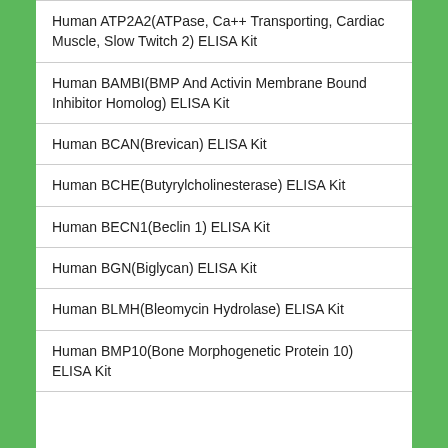Human ATP2A2(ATPase, Ca++ Transporting, Cardiac Muscle, Slow Twitch 2) ELISA Kit
Human BAMBI(BMP And Activin Membrane Bound Inhibitor Homolog) ELISA Kit
Human BCAN(Brevican) ELISA Kit
Human BCHE(Butyrylcholinesterase) ELISA Kit
Human BECN1(Beclin 1) ELISA Kit
Human BGN(Biglycan) ELISA Kit
Human BLMH(Bleomycin Hydrolase) ELISA Kit
Human BMP10(Bone Morphogenetic Protein 10) ELISA Kit